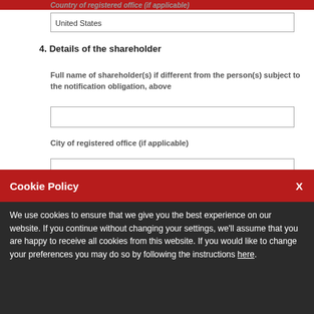Country of registered office (if applicable)
United States
4. Details of the shareholder
Full name of shareholder(s) if different from the person(s) subject to the notification obligation, above
City of registered office (if applicable)
Cookie Policy
We use cookies to ensure that we give you the best experience on our website. If you continue without changing your settings, we'll assume that you are happy to receive all cookies from this website. If you would like to change your preferences you may do so by following the instructions here.